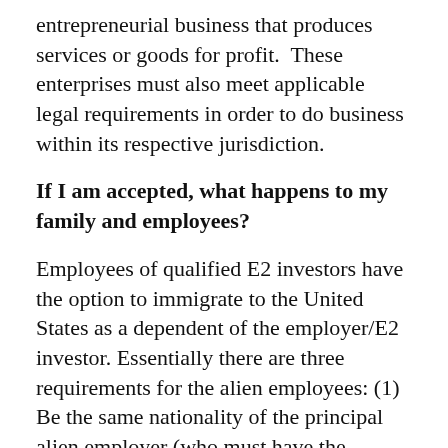entrepreneurial business that produces services or goods for profit.  These enterprises must also meet applicable legal requirements in order to do business within its respective jurisdiction.
If I am accepted, what happens to my family and employees?
Employees of qualified E2 investors have the option to immigrate to the United States as a dependent of the employer/E2 investor. Essentially there are three requirements for the alien employees: (1) Be the same nationality of the principal alien employer (who must have the nationality of the treaty country), (2) satisfy the definition of “employee” under relevant laws, (3) engaged in executive/supervisory duties.
For the families of E2 investors, they are qualified and eligible to immigrate to the United States as dependents. In this category, it follows typical